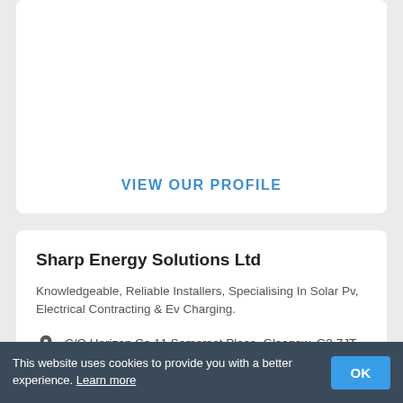VIEW OUR PROFILE
Sharp Energy Solutions Ltd
Knowledgeable, Reliable Installers, Specialising In Solar Pv, Electrical Contracting & Ev Charging.
C/O Horizon Ca 11 Somerset Place, Glasgow, G3 7JT
07936982272
This website uses cookies to provide you with a better experience. Learn more